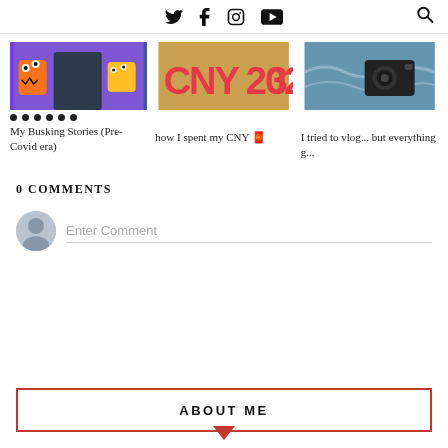Social media icons: Twitter, Facebook, Instagram, YouTube, Search
[Figure (photo): Three article thumbnail images in a row: left shows cartoon monster characters, center shows CNY 2023 decoration, right shows camera equipment]
My Busking Stories (Pre-Covid era)
how I spent my CNY 🧧
I tried to vlog... but everything g...
0 COMMENTS
Enter Comment
ABOUT ME